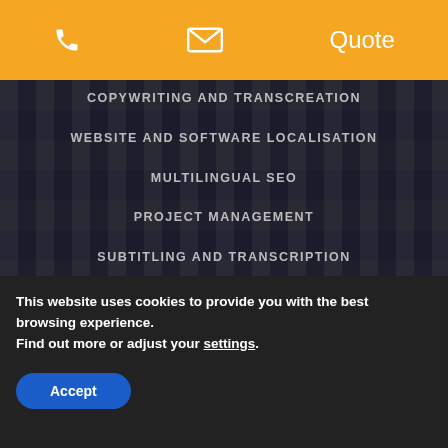Phone | Email | Quote
COPYWRITING AND TRANSCREATION
WEBSITE AND SOFTWARE LOCALISATION
MULTILINGUAL SEO
PROJECT MANAGEMENT
SUBTITLING AND TRANSCRIPTION
DTP
QUALITY RATES
This website uses cookies to provide you with the best browsing experience.
Find out more or adjust your settings.
Accept